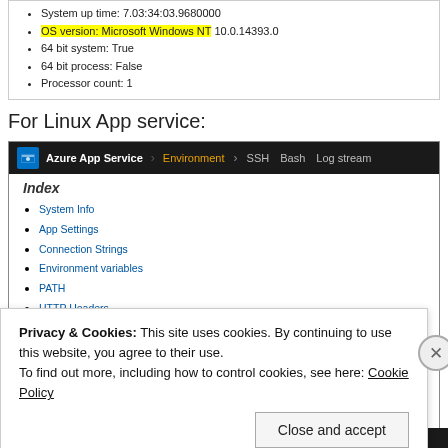System up time: 7.03:34:03.9680000
OS version: Microsoft Windows NT 10.0.14393.0
64 bit system: True
64 bit process: False
Processor count: 1
For Linux App service:
[Figure (screenshot): Azure App Service Kudu environment page showing Index with links (System info, App Settings, Connection Strings, Environment variables, PATH, HTTP Headers) and System info section with list items including System up time, OS version (Unix 4.4.0.128 highlighted in yellow), 64 bit system: True, 64 bit process: True, Processor count: 1, Machine name: a9facd1be183]
Privacy & Cookies: This site uses cookies. By continuing to use this website, you agree to their use.
To find out more, including how to control cookies, see here: Cookie Policy
Close and accept